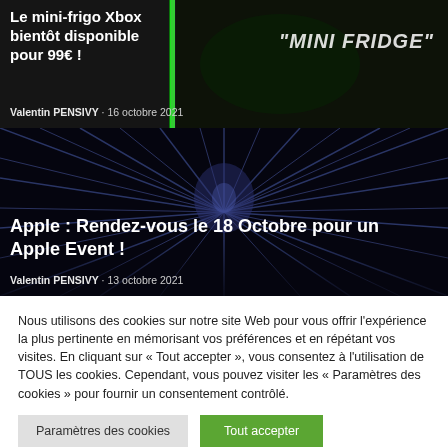Le mini-frigo Xbox bientôt disponible pour 99€ !
Valentin PENSIVY · 16 octobre 2021
[Figure (photo): Dark background with green neon vertical line and "MINI FRIDGE" text overlay for Xbox mini fridge article]
Apple : Rendez-vous le 18 Octobre pour un Apple Event !
Valentin PENSIVY · 13 octobre 2021
[Figure (photo): Dark space/galaxy background with radial light streaks for Apple Event article]
Nous utilisons des cookies sur notre site Web pour vous offrir l'expérience la plus pertinente en mémorisant vos préférences et en répétant vos visites. En cliquant sur « Tout accepter », vous consentez à l'utilisation de TOUS les cookies. Cependant, vous pouvez visiter les « Paramètres des cookies » pour fournir un consentement contrôlé.
Paramètres des cookies
Tout accepter